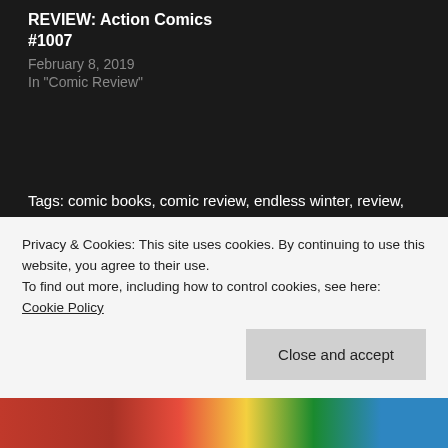REVIEW: Action Comics #1007
February 8, 2019
In "Comic Review"
Tags: comic books, comic review, endless winter, review, superman
Previous
REVIEW: Legion Of Superheroes #11
Next
REVIEW: DC's Very Merry Multiverse #1
Privacy & Cookies: This site uses cookies. By continuing to use this website, you agree to their use.
To find out more, including how to control cookies, see here: Cookie Policy
Close and accept
[Figure (photo): Colorful comic book imagery strip at the bottom of the page]